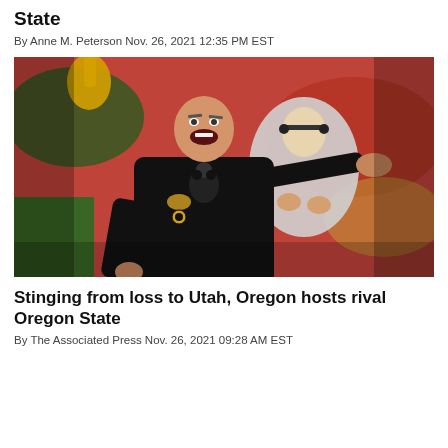State
By Anne M. Peterson Nov. 26, 2021 12:35 PM EST
[Figure (photo): Oregon football coach in black jacket pointing to sideline during a game, yelling instructions, with another coach behind him wearing a headset]
Stinging from loss to Utah, Oregon hosts rival Oregon State
By The Associated Press Nov. 26, 2021 09:28 AM EST